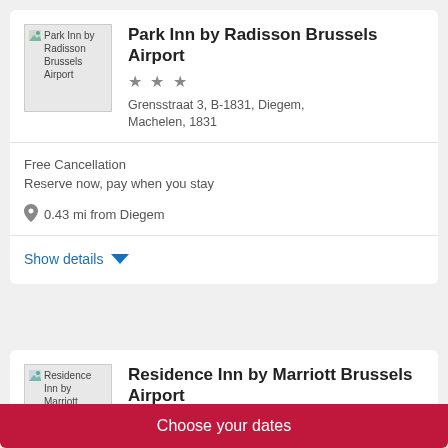[Figure (photo): Park Inn by Radisson Brussels Airport hotel thumbnail image placeholder]
Park Inn by Radisson Brussels Airport
★ ★ ★
Grensstraat 3, B-1831, Diegem, Machelen, 1831
Free Cancellation
Reserve now, pay when you stay
0.43 mi from Diegem
Show details
[Figure (photo): Residence Inn by Marriott Brussels Airport hotel thumbnail image placeholder]
Residence Inn by Marriott Brussels Airport
Choose your dates